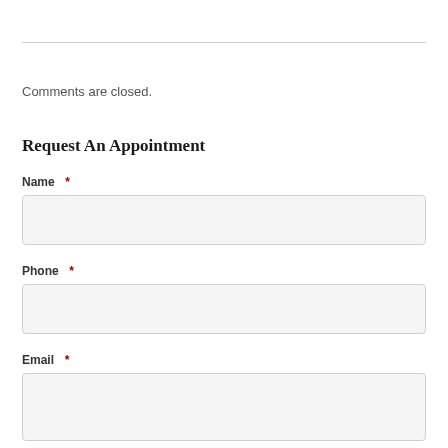Comments are closed.
Request An Appointment
Name *
Phone *
Email *